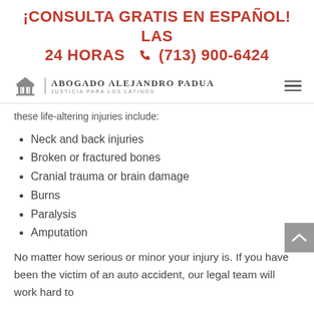¡CONSULTA GRATIS EN ESPAÑOL! LAS 24 HORAS ☎ (713) 900-6424
[Figure (logo): Abogado Alejandro Padua logo with courthouse icon and tagline 'Justicia Para Los Latinos']
these life-altering injuries include:
Neck and back injuries
Broken or fractured bones
Cranial trauma or brain damage
Burns
Paralysis
Amputation
No matter how serious or minor your injury is. If you have been the victim of an auto accident, our legal team will work hard to